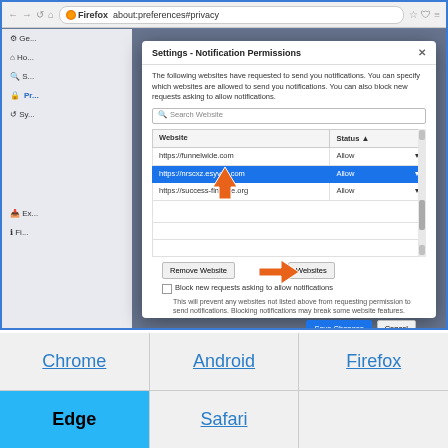[Figure (screenshot): Firefox browser showing Settings - Notification Permissions dialog with a list of websites (https://funnelwide.com, https://nrscxz.esyvuc.com highlighted in blue, https://success-finance.org) each with Allow status. Orange arrows point to the highlighted row and the Remove Website button. Bottom buttons: Remove Website, Websites, Save Changes, Cancel. Checkbox for Block new requests asking to allow notifications.]
Chrome
Android
Firefox
Edge
Safari